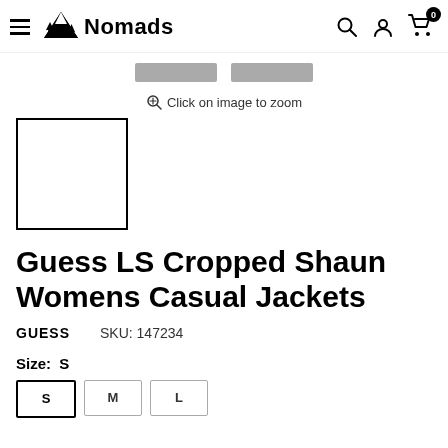Nomads — navigation header with hamburger menu, search, account, cart (0)
[Figure (screenshot): Two gray placeholder thumbnail strips in the image gallery area]
Click on image to zoom
[Figure (photo): Small thumbnail image box with black border, white interior]
Guess LS Cropped Shaun Womens Casual Jackets
GUESS    SKU: 147234
Size:  S
[Figure (screenshot): Size selection buttons: S (selected), M, L]